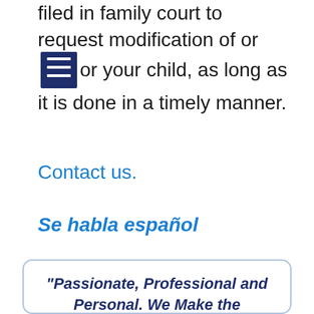filed in family court to request modification of or [menu icon] or your child, as long as it is done in a timely manner.
Contact us.
Se habla español
“Passionate, Professional and Personal. We Make the Difference.” Kalish Law Office has been serving businesses